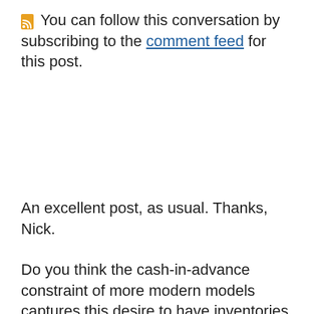You can follow this conversation by subscribing to the comment feed for this post.
An excellent post, as usual. Thanks, Nick.
Do you think the cash-in-advance constraint of more modern models captures this desire to have inventories of money or do you think there is something fundamentally different between the old Keynesian/Monetarist story and the c-i-a constraint?
Posted by: primedprimate | September 23, 2014 at